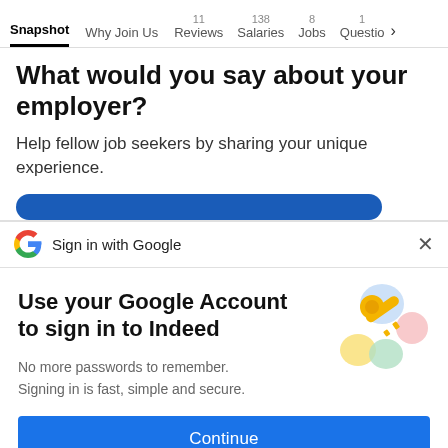Snapshot | Why Join Us | 11 Reviews | 138 Salaries | 8 Jobs | 1 Questio >
What would you say about your employer?
Help fellow job seekers by sharing your unique experience.
Sign in with Google
Use your Google Account to sign in to Indeed
No more passwords to remember. Signing in is fast, simple and secure.
Continue